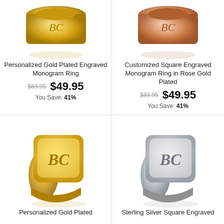[Figure (photo): Gold plated monogram ring partially visible at top]
Personalized Gold Plated Engraved Monogram Ring
$83.95 $49.95 You Save: 41%
[Figure (photo): Rose gold plated square engraved monogram ring partially visible at top]
Customized Square Engraved Monogram Ring in Rose Gold Plated
$83.95 $49.95 You Save: 41%
[Figure (photo): Gold plated square engraved monogram signet ring with script B monogram]
Personalized Gold Plated
[Figure (photo): Sterling silver square engraved monogram signet ring with script B monogram]
Sterling Silver Square Engraved